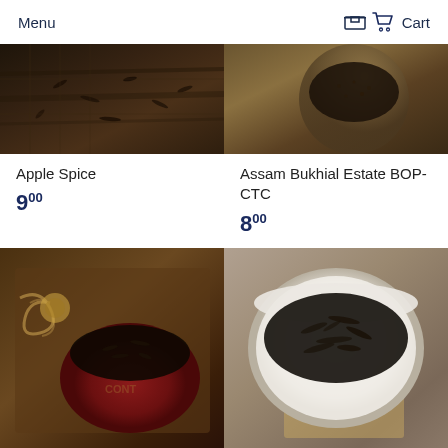Menu  Cart
[Figure (photo): Apple Spice tea product photo - dark wooden tray with scattered tea leaves and herbs]
Apple Spice
9 00
[Figure (photo): Assam Bukhial Estate BOP-CTC tea product photo - metal container with dark tea]
Assam Bukhial Estate BOP-CTC
8 00
[Figure (photo): Tea product photo - red tin container with loose black tea leaves in wooden box]
[Figure (photo): Tea product photo - white bowl filled with loose black tea leaves]